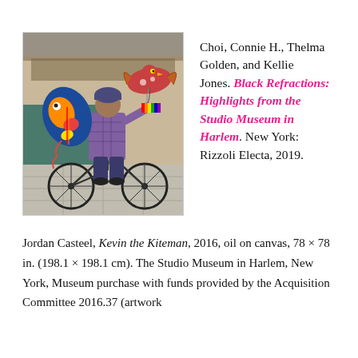[Figure (illustration): Painting of a man on a bicycle holding colorful kites against an urban background. The kites are brightly colored with decorative patterns including a bird and a fish-like shape.]
Choi, Connie H., Thelma Golden, and Kellie Jones. Black Refractions: Highlights from the Studio Museum in Harlem. New York: Rizzoli Electa, 2019.
Jordan Casteel, Kevin the Kiteman, 2016, oil on canvas, 78 × 78 in. (198.1 × 198.1 cm). The Studio Museum in Harlem, New York, Museum purchase with funds provided by the Acquisition Committee 2016.37 (artwork